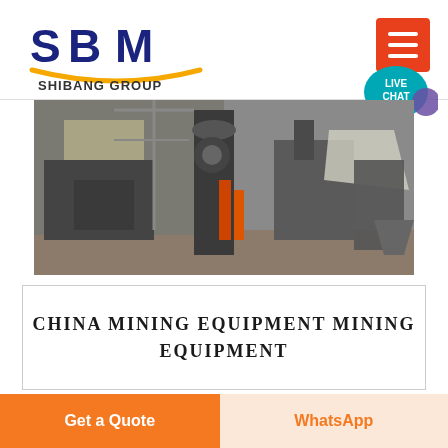[Figure (logo): SBM Shibang Group logo with blue letters and gold arc underline]
[Figure (photo): Industrial mining equipment inside a factory/warehouse with heavy machinery]
CHINA MINING EQUIPMENT MINING EQUIPMENT
China Mining Equipment manufacturers Select 2017 high quality
Get a Quote
WhatsApp